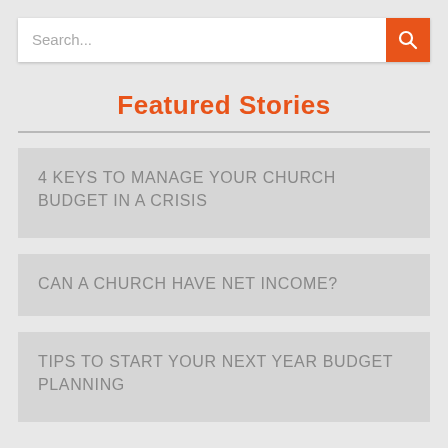Search...
Featured Stories
4 KEYS TO MANAGE YOUR CHURCH BUDGET IN A CRISIS
CAN A CHURCH HAVE NET INCOME?
TIPS TO START YOUR NEXT YEAR BUDGET PLANNING